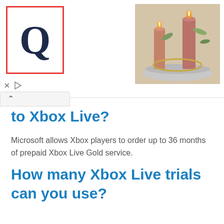[Figure (screenshot): Advertisement banner with Quora logo (Q in a red square border) on the left and a decorative photo of candles on a silver tray on the right. Below the logo are ad controls (X close button and play button icon). A collapse arrow bar appears below the ad.]
to Xbox Live?
Microsoft allows Xbox players to order up to 36 months of prepaid Xbox Live Gold service.
How many Xbox Live trials can you use?